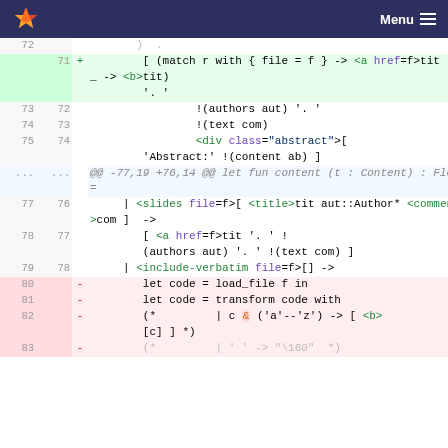GitLab logo | Menu
[Figure (screenshot): Code diff view showing OCaml/HTML template changes with line numbers, added lines (green), removed lines (red), and context lines. Line numbers from 71-83 on old side and 72-78 on new side.]